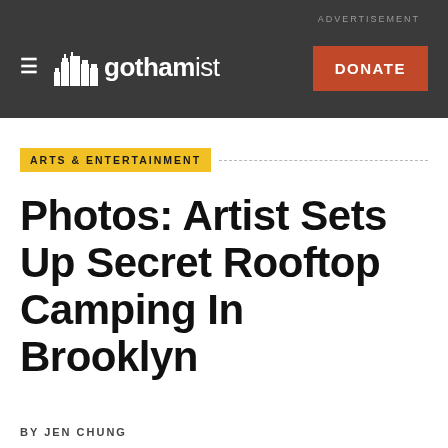ADVERTISEMENT
[Figure (logo): Gothamist logo with city skyline icon and hamburger menu, plus orange DONATE button on dark background]
ARTS & ENTERTAINMENT
Photos: Artist Sets Up Secret Rooftop Camping In Brooklyn
BY JEN CHUNG